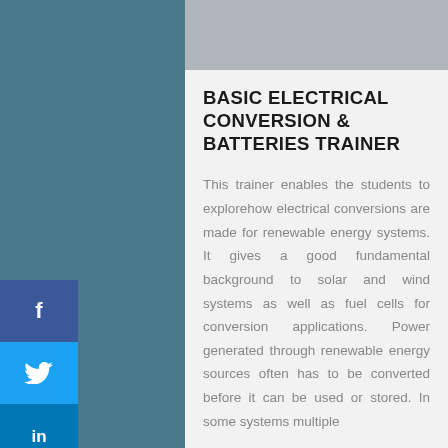BASIC ELECTRICAL CONVERSION & BATTERIES TRAINER
This trainer enables the students to explorehow electrical conversions are made for renewable energy systems. It gives a good fundamental background to solar and wind systems as well as fuel cells for conversion applications. Power generated through renewable energy sources often has to be converted before it can be used or stored. In some systems multiple